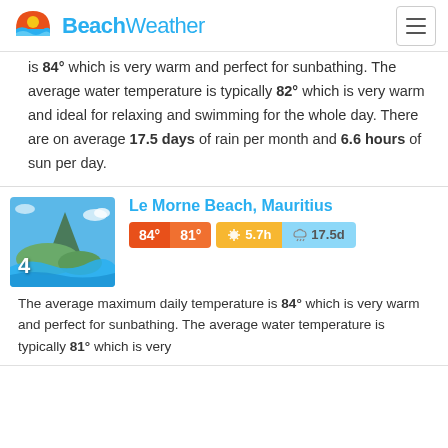BeachWeather
is 84° which is very warm and perfect for sunbathing. The average water temperature is typically 82° which is very warm and ideal for relaxing and swimming for the whole day. There are on average 17.5 days of rain per month and 6.6 hours of sun per day.
[Figure (photo): Aerial photo of Le Morne beach, Mauritius with rank number 4]
Le Morne Beach, Mauritius
84° 81° ☀ 5.7h 🌧 17.5d
The average maximum daily temperature is 84° which is very warm and perfect for sunbathing. The average water temperature is typically 81° which is very